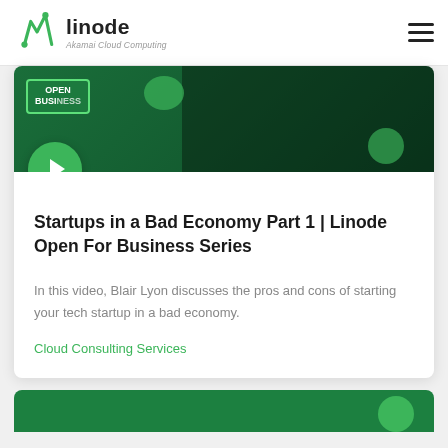linode — Akamai Cloud Computing
[Figure (screenshot): Video thumbnail with dark green background, 'OPEN BUSINESS' badge in top left, silhouette of person on right, green play button circle at bottom left]
Startups in a Bad Economy Part 1 | Linode Open For Business Series
In this video, Blair Lyon discusses the pros and cons of starting your tech startup in a bad economy.
Cloud Consulting Services
[Figure (screenshot): Bottom green card partially visible at bottom of page]